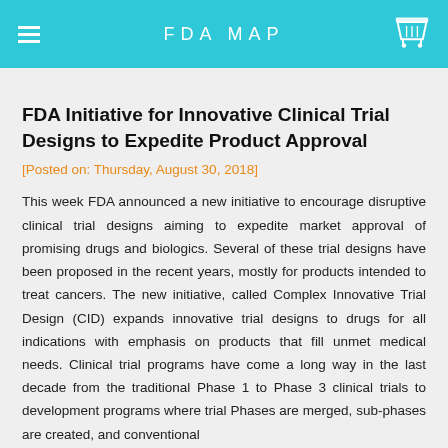FDA MAP
FDA Initiative for Innovative Clinical Trial Designs to Expedite Product Approval
[Posted on: Thursday, August 30, 2018]
This week FDA announced a new initiative to encourage disruptive clinical trial designs aiming to expedite market approval of promising drugs and biologics. Several of these trial designs have been proposed in the recent years, mostly for products intended to treat cancers. The new initiative, called Complex Innovative Trial Design (CID) expands innovative trial designs to drugs for all indications with emphasis on products that fill unmet medical needs. Clinical trial programs have come a long way in the last decade from the traditional Phase 1 to Phase 3 clinical trials to development programs where trial Phases are merged, sub-phases are created, and conventional